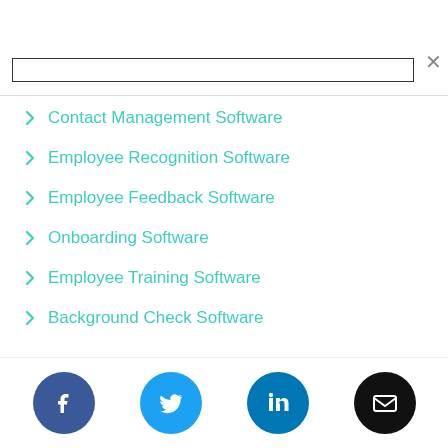Contact Management Software
Employee Recognition Software
Employee Feedback Software
Onboarding Software
Employee Training Software
Background Check Software
[Figure (infographic): Social media and email share icons: Facebook (blue circle), Twitter (light blue circle), LinkedIn (blue circle), Email (black circle)]